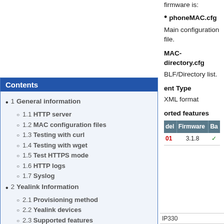firmware is:
phoneMAC.cfg
Main configuration file.
MAC-directory.cfg
BLF/Directory list.
ent Type
XML format
orted features
| del | Firmware | Ba |
| --- | --- | --- |
| 01 | 3.1.8 | ✓ |
| IP330 |  |  |
Contents
1 General information
1.1 HTTP server
1.2 MAC configuration files
1.3 Testing with curl
1.4 Testing with wget
1.5 Test HTTPS mode
1.6 HTTP logs
1.7 Syslog
2 Yealink Information
2.1 Provisioning method
2.2 Yealink devices
2.3 Supported features
3 Polycom Information
3.1 Provisioning method
3.2 Polycom devices
3.3 Supported features